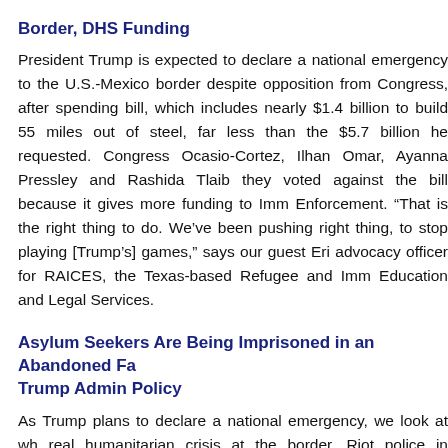Border, DHS Funding
President Trump is expected to declare a national emergency to the U.S.-Mexico border despite opposition from Congress, after spending bill, which includes nearly $1.4 billion to build 55 miles out of steel, far less than the $5.7 billion he requested. Congress Ocasio-Cortez, Ilhan Omar, Ayanna Pressley and Rashida Tlaib they voted against the bill because it gives more funding to Imm Enforcement. “That is the right thing to do. We’ve been pushing right thing, to stop playing [Trump’s] games,” says our guest Eri advocacy officer for RAICES, the Texas-based Refugee and Imm Education and Legal Services.
Asylum Seekers Are Being Imprisoned in an Abandoned Fa Trump Admin Policy
As Trump plans to declare a national emergency, we look at wh real humanitarian crisis at the border. Riot police in northern Me desperate Central American migrants Wednesday as they tried t factory complex where they’ve been imprisoned while waiting fo